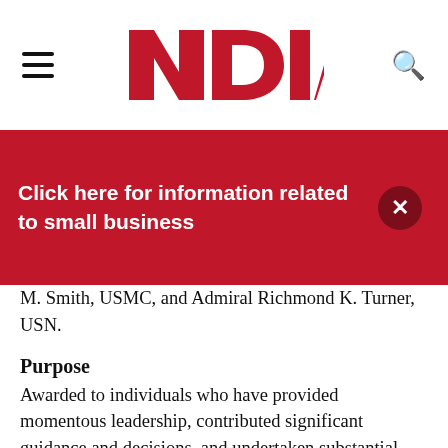[Figure (logo): NDIA logo in bold red text with hamburger menu icon on left and search icon on right, on white header bar]
Click here for information related to small business
M. Smith, USMC, and Admiral Richmond K. Turner, USN.
Purpose
Awarded to individuals who have provided momentous leadership, contributed significant guidance and decisions, and undertaken substantial actions resulting in improved national expeditionary warfare capability.